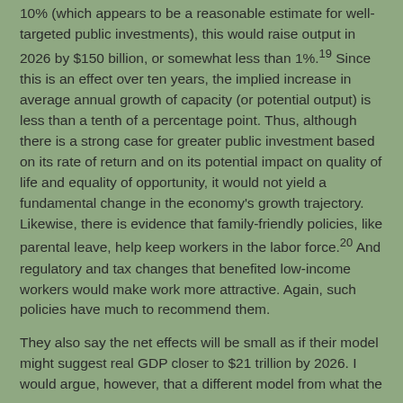10% (which appears to be a reasonable estimate for well-targeted public investments), this would raise output in 2026 by $150 billion, or somewhat less than 1%.19 Since this is an effect over ten years, the implied increase in average annual growth of capacity (or potential output) is less than a tenth of a percentage point. Thus, although there is a strong case for greater public investment based on its rate of return and on its potential impact on quality of life and equality of opportunity, it would not yield a fundamental change in the economy's growth trajectory. Likewise, there is evidence that family-friendly policies, like parental leave, help keep workers in the labor force.20 And regulatory and tax changes that benefited low-income workers would make work more attractive. Again, such policies have much to recommend them.
They also say the net effects will be small as if their model might suggest real GDP closer to $21 trillion by 2026. I would argue, however, that a different model from what the